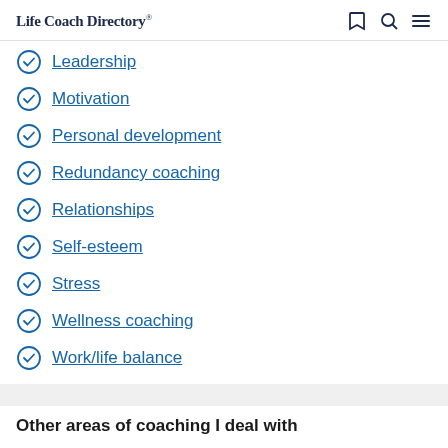Life Coach Directory
Leadership
Motivation
Personal development
Redundancy coaching
Relationships
Self-esteem
Stress
Wellness coaching
Work/life balance
Other areas of coaching I deal with